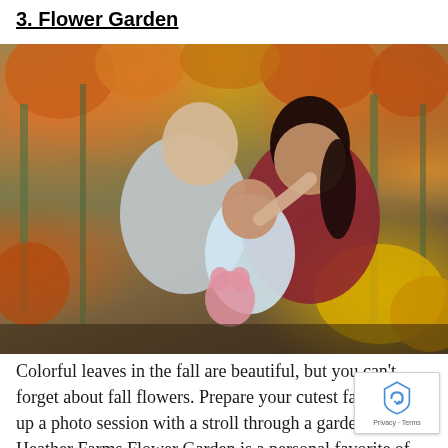3. Flower Garden
[Figure (photo): A family of three — a man in a gray sweater, a woman in a burgundy sweater, and a toddler in a plaid shirt holding a small flower — surrounded by orange and yellow chrysanthemums in a flower garden.]
Colorful leaves in the fall are beautiful, but you can't forget about fall flowers. Prepare your cutest fall and set up a photo session with a stroll through a garden. The Heather Farms Flower Garden is a personal favorite of ours in the fall.